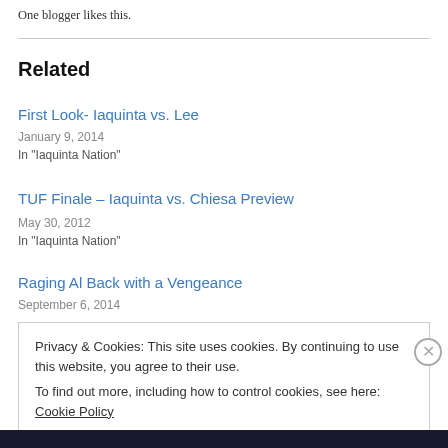One blogger likes this.
Related
First Look- Iaquinta vs. Lee
January 9, 2014
In "Iaquinta Nation"
TUF Finale – Iaquinta vs. Chiesa Preview
May 30, 2012
In "Iaquinta Nation"
Raging Al Back with a Vengeance
September 6, 2014
Privacy & Cookies: This site uses cookies. By continuing to use this website, you agree to their use.
To find out more, including how to control cookies, see here: Cookie Policy
[Close and accept]